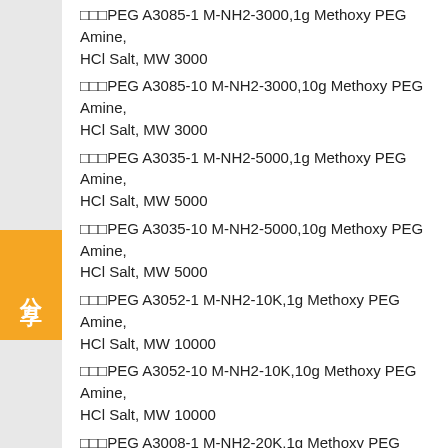□□□PEG A3085-1 M-NH2-3000,1g Methoxy PEG Amine, HCl Salt, MW 3000
□□□PEG A3085-10 M-NH2-3000,10g Methoxy PEG Amine, HCl Salt, MW 3000
□□□PEG A3035-1 M-NH2-5000,1g Methoxy PEG Amine, HCl Salt, MW 5000
□□□PEG A3035-10 M-NH2-5000,10g Methoxy PEG Amine, HCl Salt, MW 5000
□□□PEG A3052-1 M-NH2-10K,1g Methoxy PEG Amine, HCl Salt, MW 10000
□□□PEG A3052-10 M-NH2-10K,10g Methoxy PEG Amine, HCl Salt, MW 10000
□□□PEG A3008-1 M-NH2-20K,1g Methoxy PEG Amine, HCl Salt, MW 20000
□□□PEG A3008-10 M-NH2-20K,10g Methoxy PEG Amine, HCl Salt, MW 20000
□□□PEG A3043-1 M-NH2-30K,1g Methoxy PEG Amine, HCl Salt, MW 30000
□□□PEG A3043-10 M-NH2-30K,10g Methoxy PEG Amine, HCl Salt, MW 30000
□□□PEG A3049-1 M-NH2-40K,1g Methoxy PEG Amine,